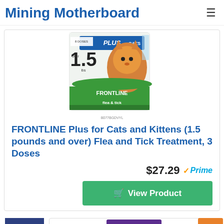Mining Motherboard
[Figure (photo): Product photo of FRONTLINE Plus for Cats packaging showing a cat with '1.5 lbs and over' label]
B077BGDVYL
FRONTLINE Plus for Cats and Kittens (1.5 pounds and over) Flea and Tick Treatment, 3 Doses
$27.29 Prime
View Product
7
[Figure (photo): Product photo of FRONTLINE Plus 6 doses packaging at bottom of page]